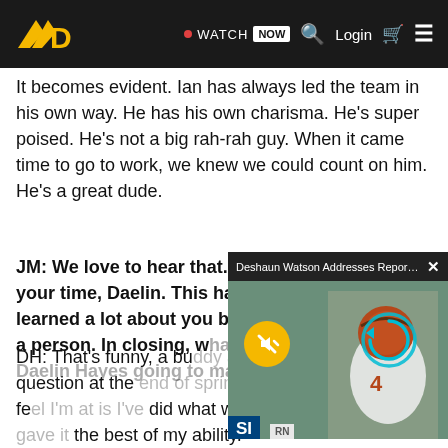Sports Illustrated / Watch Now | Login
It becomes evident. Ian has always led the team in his own way. He has his own charisma. He's super poised. He's not a big rah-rah guy. When it came time to go to work, we knew we could count on him. He's a great dude.
JM: We love to hear that. I've really appreciated your time, Daelin. This has been terrific. We've learned a lot about you both as a player and as a person. In closing, what kind of impact is Daelin Hayes going to ma[ke]
[Figure (screenshot): Video popup overlay showing 'Deshaun Watson Addresses Reporters ...' with a photo of a Cleveland Browns player wearing jersey #4, with mute and replay buttons, SI logo watermark]
DH: That's funny, a bu[ddy asked me that] same question at the [end of spring. Right] now where I really fe[el I'm at is I've] did what was asked o[f me and I gave it] the best of my ability.